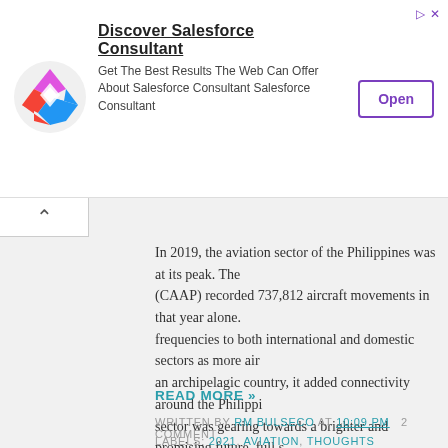[Figure (other): Advertisement banner for Salesforce Consultant with colorful diamond logo icon, ad title, description text, and an Open button]
In 2019, the aviation sector of the Philippines was at its peak. The (CAAP) recorded 737,812 aircraft movements in that year alone. frequencies to both international and domestic sectors as more air an archipelagic country, it added connectivity around the Philippi sector was gearing towards a brighter and promising future, full s
READ MORE »
WRITTEN BY RM BULSECO AT 10:09 PM   2 COMMENT
LABELS: 2021, AVIATION, THOUGHTS
SUNDAY, MAY 2, 2021
ILOCOS REGION: THE